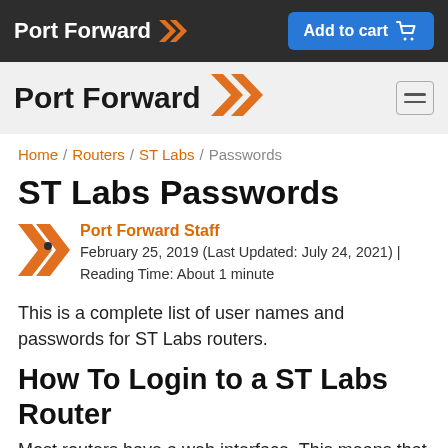Port Forward | Add to cart
Port Forward
Home / Routers / ST Labs / Passwords
ST Labs Passwords
Port Forward Staff
February 25, 2019 (Last Updated: July 24, 2021) | Reading Time: About 1 minute
This is a complete list of user names and passwords for ST Labs routers.
How To Login to a ST Labs Router
Most routers have a web interface. This means that in order to login to them you start with your web